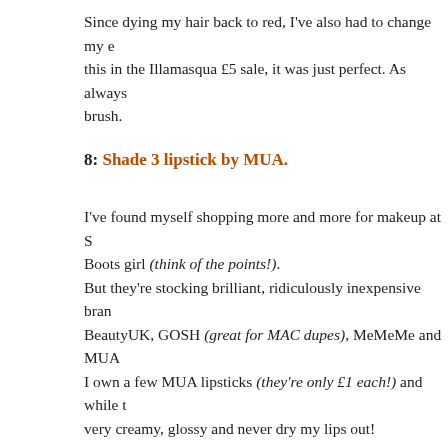Since dying my hair back to red, I've also had to change my eye this in the Illamasqua £5 sale, it was just perfect. As always brush.
8: Shade 3 lipstick by MUA.
I've found myself shopping more and more for makeup at S Boots girl (think of the points!). But they're stocking brilliant, ridiculously inexpensive bran BeautyUK, GOSH (great for MAC dupes), MeMeMe and MUA I own a few MUA lipsticks (they're only £1 each!) and while t very creamy, glossy and never dry my lips out!
This is a pretty mid-pink which I'm loving wearing with my
WATCHING/READING:
[Figure (photo): Photo showing two-disc special edition of Stanley Kubrick's Clockwork Orange DVD and a blue book or item on the right side]